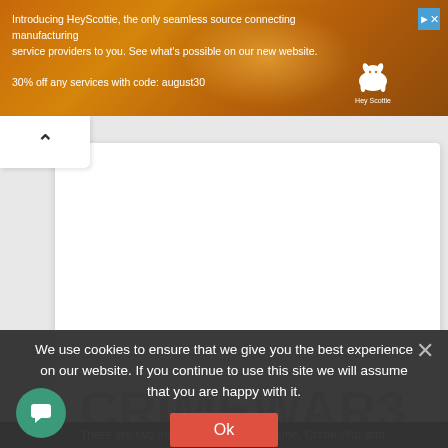[Figure (screenshot): HeyScottie advertisement banner with orange/gold industrial sparks background, white dog logo, and text about manufacturing services]
Introducing HeyScottie, the only seamless source connecting manufacturing service providers to you. See what's possible on our new website.
30% off any services with code: august30
[Figure (screenshot): White content card area with collapse arrow button in top-left corner]
We use cookies to ensure that we give you the best experience on our website. If you continue to use this site we will assume that you are happy with it.
Ok
There are two modes of play in the game, Crime War and